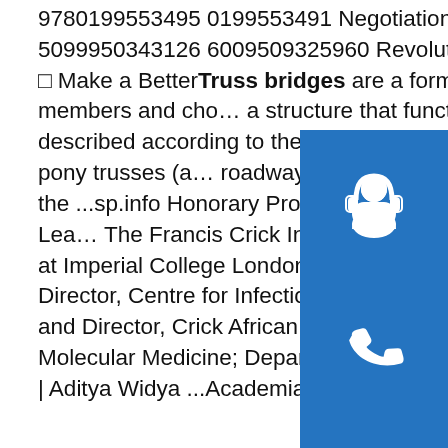9780199553495 0199553491 Negotiation 2008-2009, The City Law School 5099950343126 6009509325960 Revolutionized, DJ Traxsp.info pdfconstructionbunker □ Make a BetterTruss bridges are a form of a beam where a triangular framework of members and chords form a structure that functions as a large beam. Truss bridges are described according to the arrangement of the deck trusses (below the roadway), pony trusses (above the roadway, but without overhead bracing), and through trusses (above the ...sp.info Honorary Professor Robert Wilkinson MA (Cambridge) BM ...Senior Group Leader, The Francis Crick Institute, London; and Wellcome Senior Fellow in Clinical Science at Imperial College London [both posts seconded to the University of Cape Town]; Director, Centre for Infectious Diseases Research in Africa (CIDRI-Africa); Group leader and Director, Crick African Network; and Member, Institute of Infectious Disease and Molecular Medicine; Department of ...sp.info (PDF) ACI 2010-Structural Steel Buildings | Aditya Widya ...Academia.edu
[Figure (illustration): Blue square button with white headset/customer support icon]
[Figure (illustration): Blue square button with white telephone/call icon]
[Figure (illustration): Blue square button with white Skype logo icon]